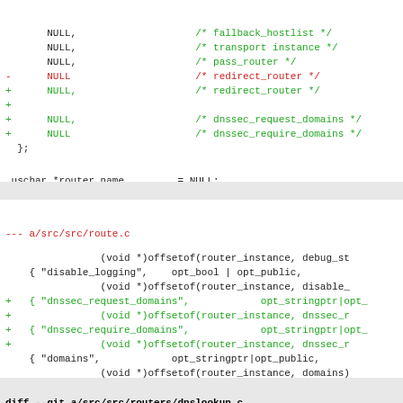+++ b/src/src/globals.c
@@ -1168,7 +1168,10 @@ router_instance  router_defaults = {
NULL,                    /* fallback_hostlist */
     NULL,                    /* transport instance */
     NULL,                    /* pass_router */
-    NULL                     /* redirect_router */
+    NULL,                    /* redirect_router */
+
+    NULL,                    /* dnssec_request_domains */
+    NULL                     /* dnssec_require_domains */
  };
uschar *router_name         = NULL;
diff --git a/src/src/route.c b/src/src/route.c
index ec18880..2f534b7 100644 (file)
--- a/src/src/route.c
+++ b/src/src/route.c
@@ -54,6 +54,10 @@ optionlist optionlist_routers[] = {
(void *)offsetof(router_instance, debug_st
    { "disable_logging",    opt_bool | opt_public,
                (void *)offsetof(router_instance, disable_
+   { "dnssec_request_domains",            opt_stringptr|opt_
+               (void *)offsetof(router_instance, dnssec_r
+   { "dnssec_require_domains",            opt_stringptr|opt_
+               (void *)offsetof(router_instance, dnssec_r
    { "domains",            opt_stringptr|opt_public,
                (void *)offsetof(router_instance, domains)
    { "driver",             opt_stringptr|opt_public,
diff --git a/src/src/routers/dnslookup.c b/src/src/routers/dnslookup.c